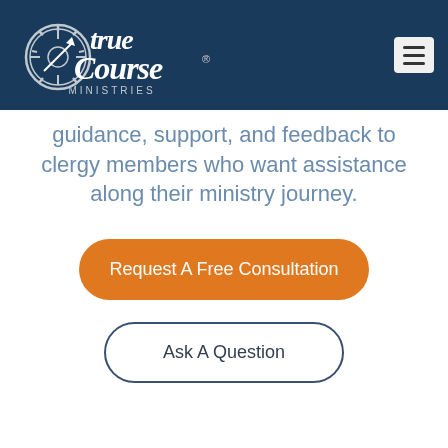[Figure (logo): True Course Ministries logo — white stylized text 'true course' with nautical gear/sextant graphic, 'MINISTRIES' in small caps below, on dark navy background. Hamburger menu icon in top right.]
guidance, support, and feedback to clergy members who want assistance along their ministry journey.
Request A Free Consultation
Ask A Question